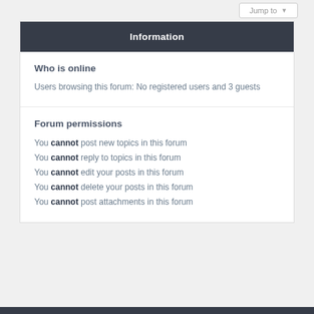Jump to
Information
Who is online
Users browsing this forum: No registered users and 3 guests
Forum permissions
You cannot post new topics in this forum
You cannot reply to topics in this forum
You cannot edit your posts in this forum
You cannot delete your posts in this forum
You cannot post attachments in this forum